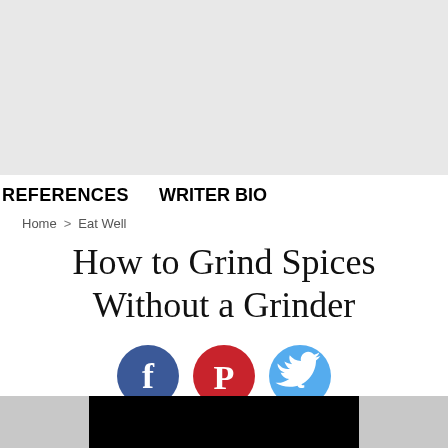[Figure (other): Gray banner area at top of page, likely an advertisement placeholder]
REFERENCES   WRITER BIO
Home > Eat Well
How to Grind Spices Without a Grinder
[Figure (other): Social media sharing icons: Facebook (blue circle), Pinterest (red circle), Twitter (light blue circle)]
By Juan Ramirez
[Figure (other): Video thumbnail strip, black rectangle centered at bottom of page]